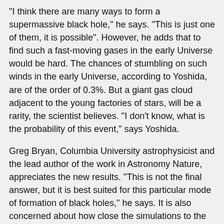"I think there are many ways to form a supermassive black hole," he says. "This is just one of them, it is possible". However, he adds that to find such a fast-moving gases in the early Universe would be hard. The chances of stumbling on such winds in the early Universe, according to Yoshida, are of the order of 0.3%. But a giant gas cloud adjacent to the young factories of stars, will be a rarity, the scientist believes. "I don't know, what is the probability of this event," says Yoshida.
Greg Bryan, Columbia University astrophysicist and the lead author of the work in Astronomy Nature, appreciates the new results. "This is not the final answer, but it is best suited for this particular mode of formation of black holes," he says. It is also concerned about how close the simulations to the formation of small stars. To form a black hole, the first gases have been collected in a very small area, which would not happen if they were broken in small clusters of stars. If a little to change the conditions of the simulation, a solid seed is formed. "On the other hand, I like their model, I believe her," adds Brian.
Fulvio Melia, an astrophysicist at Arizona state University, not happy with this theory. "The authors rely on a bunch of unknown physics, like all other assumptions about the formation of